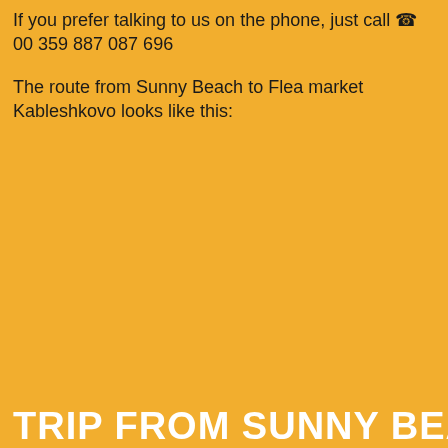If you prefer talking to us on the phone, just call ☎ 00 359 887 087 696
The route from Sunny Beach to Flea market Kableshkovo looks like this:
TRIP FROM SUNNY BEACH